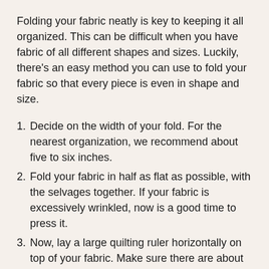Folding your fabric neatly is key to keeping it all organized. This can be difficult when you have fabric of all different shapes and sizes. Luckily, there’s an easy method you can use to fold your fabric so that every piece is even in shape and size.
1. Decide on the width of your fold. For the nearest organization, we recommend about five to six inches.
2. Fold your fabric in half as flat as possible, with the selvages together. If your fabric is excessively wrinkled, now is a good time to press it.
3. Now, lay a large quilting ruler horizontally on top of your fabric. Make sure there are about three inches of fabric exposed above the ruler.
4. Fold your fabric over the top of the ruler. Then, using your ruler as a guide, fold the fabric again, making sure to hold onto the part of the fabric you